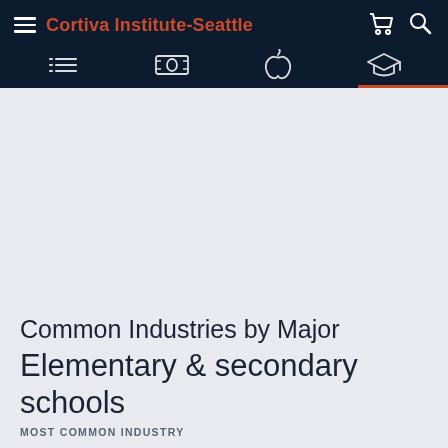Cortiva Institute-Seattle
Common Industries by Major
Elementary & secondary schools
MOST COMMON INDUSTRY